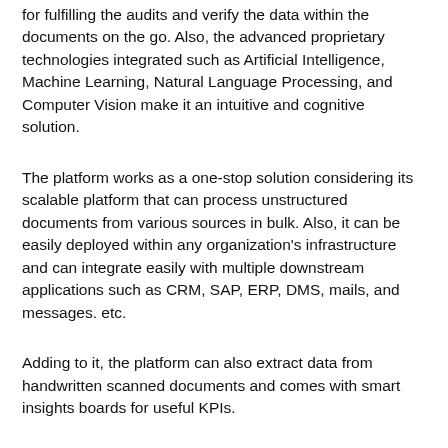for fulfilling the audits and verify the data within the documents on the go. Also, the advanced proprietary technologies integrated such as Artificial Intelligence, Machine Learning, Natural Language Processing, and Computer Vision make it an intuitive and cognitive solution.
The platform works as a one-stop solution considering its scalable platform that can process unstructured documents from various sources in bulk. Also, it can be easily deployed within any organization's infrastructure and can integrate easily with multiple downstream applications such as CRM, SAP, ERP, DMS, mails, and messages. etc.
Adding to it, the platform can also extract data from handwritten scanned documents and comes with smart insights boards for useful KPIs.
Final Words